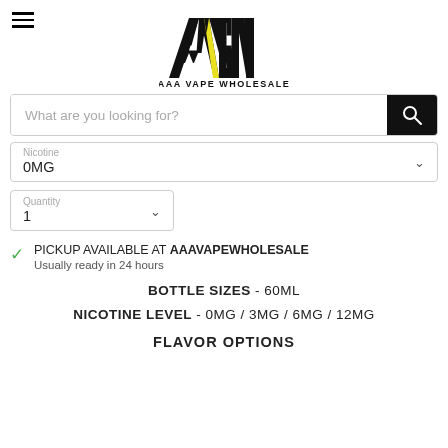[Figure (logo): AAA Vape Wholesale logo — bold stylized letters AVW with yellow accent, text 'AAA VAPE WHOLESALE' below]
What are you looking for?
Nicotine
0MG
Quantity
1
PICKUP AVAILABLE AT AAAVAPEWHOLESALE
Usually ready in 24 hours
BOTTLE SIZES - 60ML
NICOTINE LEVEL - 0MG / 3MG / 6MG / 12MG
FLAVOR OPTIONS